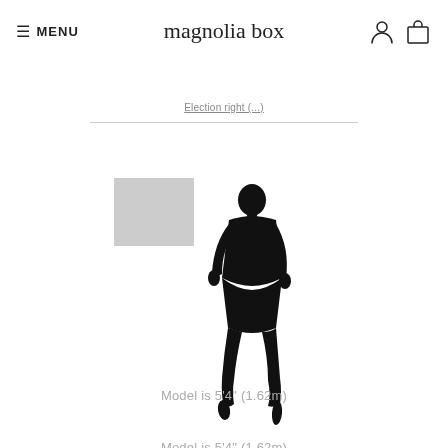≡ MENU | magnolia box | [user icon] [bag icon]
Eléction right (...)
[Figure (illustration): Size comparison illustration: a grey rectangle representing artwork/print size on the left, and a black silhouette of a walking female model on the right for scale comparison.]
Model is 5'4" (1.62m)